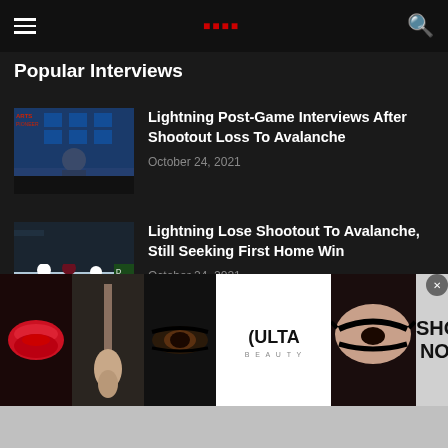Popular Interviews
Popular Interviews
[Figure (screenshot): Thumbnail of press conference with man in suit against blue branded backdrop with ARTS PIONEER text]
Lightning Post-Game Interviews After Shootout Loss To Avalanche
October 24, 2021
[Figure (screenshot): Hockey players on ice, Colorado Avalanche players skating]
Lightning Lose Shootout To Avalanche, Still Seeking First Home Win
October 24, 2021
[Figure (screenshot): Man in cap with ARTS HONDA and text backdrop including burg]
Kevin Cash Postgame Interview After Rays Clinch AL East
September 27, 2021
[Figure (infographic): ULTA Beauty advertisement banner with makeup imagery and SHOP NOW call to action]